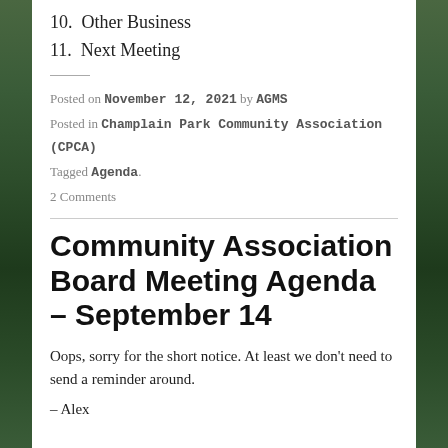10.  Other Business
11.  Next Meeting
Posted on November 12, 2021 by AGMS
Posted in Champlain Park Community Association (CPCA)
Tagged Agenda.
2 Comments
Community Association Board Meeting Agenda – September 14
Oops, sorry for the short notice. At least we don't need to send a reminder around.
– Alex